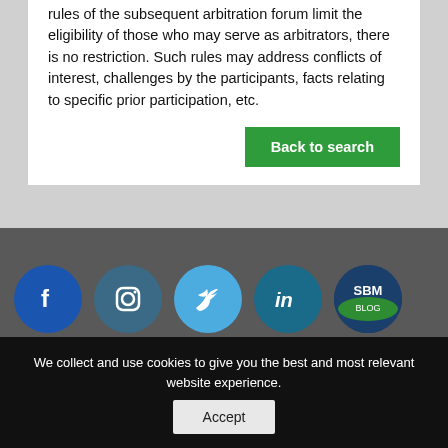rules of the subsequent arbitration forum limit the eligibility of those who may serve as arbitrators, there is no restriction. Such rules may address conflicts of interest, challenges by the participants, facts relating to specific prior participation, etc.
Back to search
[Figure (illustration): Social media icons: Facebook (dark blue circle with f), Instagram (teal circle with camera icon), Twitter (light blue circle with bird icon), LinkedIn (dark teal circle with 'in'), SBM Blog (dark blue circle with 'SBM BLOG' text and green accent)]
[Figure (logo): Partially visible logo circle in white on gray bar]
We collect and use cookies to give you the best and most relevant website experience.
Accept